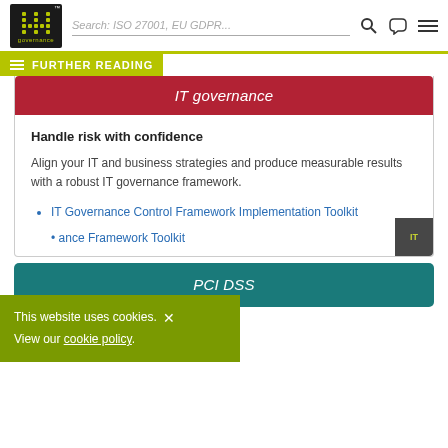[Figure (screenshot): IT Governance website header with logo, search bar, phone icon, and menu icon]
FURTHER READING
IT governance
Handle risk with confidence
Align your IT and business strategies and produce measurable results with a robust IT governance framework.
IT Governance Control Framework Implementation Toolkit
ance Framework Toolkit
This website uses cookies. View our cookie policy.
PCI DSS